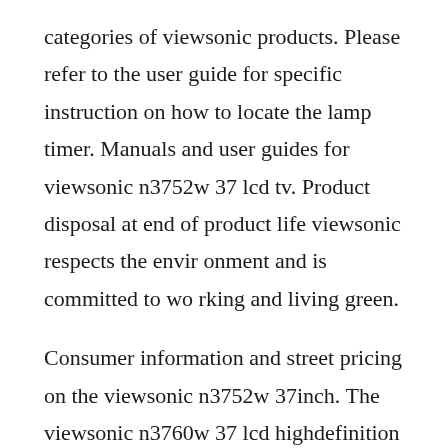categories of viewsonic products. Please refer to the user guide for specific instruction on how to locate the lamp timer. Manuals and user guides for viewsonic n3752w 37 lcd tv. Product disposal at end of product life viewsonic respects the envir onment and is committed to wo rking and living green.
Consumer information and street pricing on the viewsonic n3752w 37inch. The viewsonic n3760w 37 lcd highdefinition television. Thank you for choosing viewsonic as a world leading provider of visual solutions,